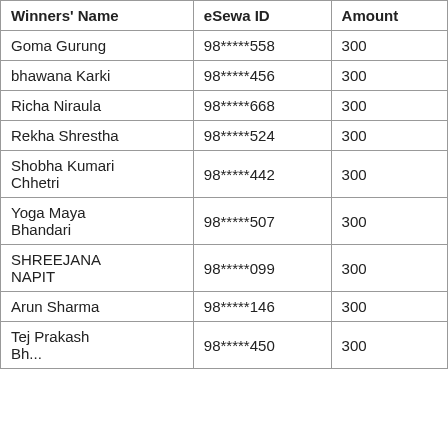| Winners' Name | eSewa ID | Amount |
| --- | --- | --- |
| Goma Gurung | 98*****558 | 300 |
| bhawana Karki | 98*****456 | 300 |
| Richa Niraula | 98*****668 | 300 |
| Rekha Shrestha | 98*****524 | 300 |
| Shobha Kumari Chhetri | 98*****442 | 300 |
| Yoga Maya Bhandari | 98*****507 | 300 |
| SHREEJANA NAPIT | 98*****099 | 300 |
| Arun Sharma | 98*****146 | 300 |
| Tej Prakash Bhandari | 98*****450 | 300 |